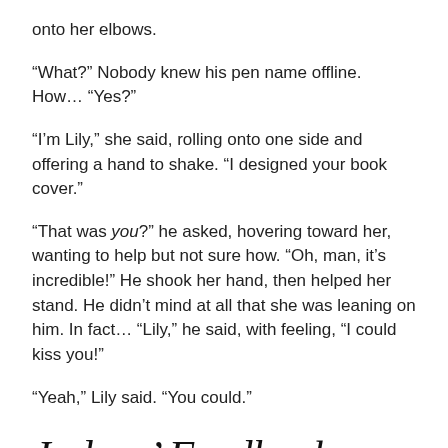onto her elbows.
“What?” Nobody knew his pen name offline. How… “Yes?”
“I’m Lily,” she said, rolling onto one side and offering a hand to shake. “I designed your book cover.”
“That was you?” he asked, hovering toward her, wanting to help but not sure how. “Oh, man, it’s incredible!” He shook her hand, then helped her stand. He didn’t mind at all that she was leaning on him. In fact… “Lily,” he said, with feeling, “I could kiss you!”
“Yeah,” Lily said. “You could.”
Judges’ Feedback
One of the best things about the NYC Midnight contest was the